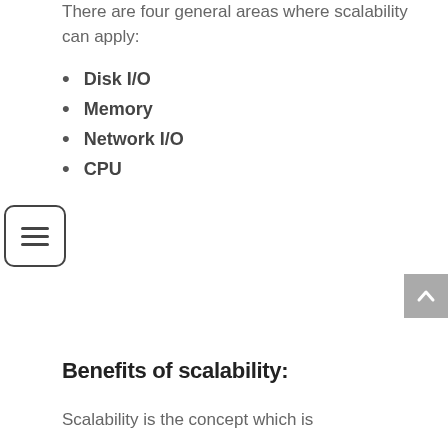There are four general areas where scalability can apply:
Disk I/O
Memory
Network I/O
CPU
[Figure (other): Hamburger menu icon button — three horizontal lines inside a rounded rectangle border]
[Figure (other): Scroll-to-top button — upward caret chevron on grey background, positioned at right edge]
Benefits of scalability:
Scalability is the concept which is